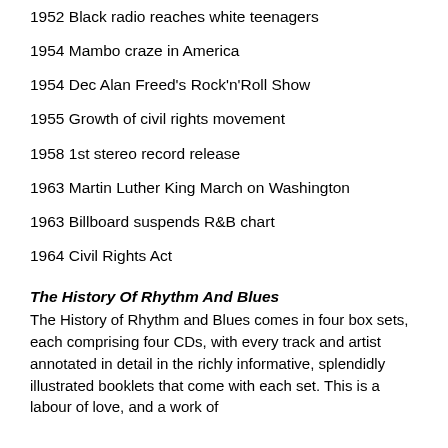1952 Black radio reaches white teenagers
1954 Mambo craze in America
1954 Dec Alan Freed's Rock'n'Roll Show
1955 Growth of civil rights movement
1958 1st stereo record release
1963 Martin Luther King March on Washington
1963 Billboard suspends R&B chart
1964 Civil Rights Act
The History Of Rhythm And Blues
The History of Rhythm and Blues comes in four box sets, each comprising four CDs, with every track and artist annotated in detail in the richly informative, splendidly illustrated booklets that come with each set. This is a labour of love, and a work of